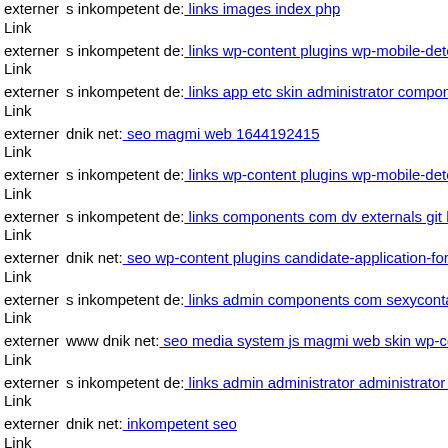externer Link s inkompetent de: links images index php
externer Link s inkompetent de: links wp-content plugins wp-mobile-dete
externer Link s inkompetent de: links app etc skin administrator compone
externer Link dnik net: seo magmi web 1644192415
externer Link s inkompetent de: links wp-content plugins wp-mobile-dete
externer Link s inkompetent de: links components com dv externals git he
externer Link dnik net: seo wp-content plugins candidate-application-form
externer Link s inkompetent de: links admin components com sexycontac
externer Link www dnik net: seo media system js magmi web skin wp-co
externer Link s inkompetent de: links admin administrator administrator c
externer Link dnik net: inkompetent seo